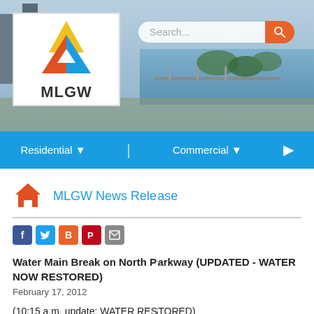[Figure (screenshot): MLGW website header with city aerial photo background, MLGW logo (triangular design in yellow, red, blue, white on white box), and a search bar with orange search button]
[Figure (screenshot): MLGW website navigation bar in blue with Residential and Commercial dropdown menus and a right arrow button]
MLGW News Release
[Figure (infographic): Social sharing icons: Facebook (blue), Twitter (light blue), Blogger (orange), Pinterest (red), Email (gray)]
Water Main Break on North Parkway (UPDATED - WATER NOW RESTORED)
February 17, 2012
(10:15 a.m. update: WATER RESTORED)